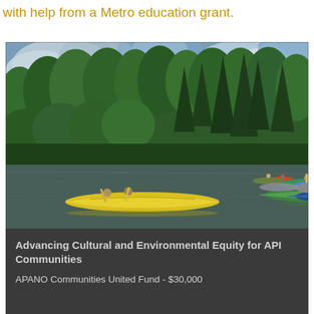with help from a Metro education grant.
[Figure (photo): Group of people kayaking on a calm river surrounded by dense green forest trees and partly cloudy sky. Multiple colorful kayaks (yellow, blue, green) visible on the water.]
Advancing Cultural and Environmental Equity for API Communities

APANO Communities United Fund - $30,000